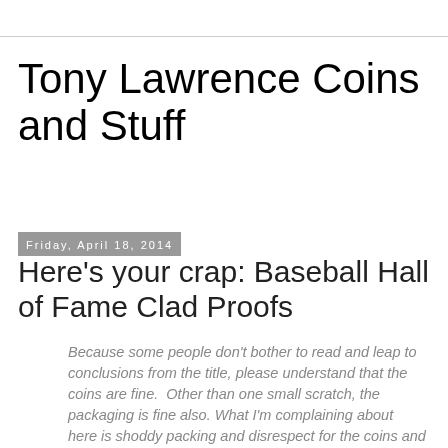Tony Lawrence Coins and Stuff
Friday, April 18, 2014
Here's your crap: Baseball Hall of Fame Clad Proofs
Because some people don't bother to read and leap to conclusions from the title, please understand that the coins are fine.  Other than one small scratch, the packaging is fine also. What I'm complaining about here is shoddy packing and disrespect for the coins and the customer.